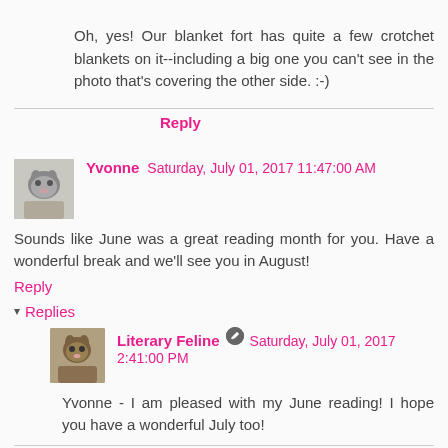Oh, yes! Our blanket fort has quite a few crotchet blankets on it--including a big one you can't see in the photo that's covering the other side. :-)
Reply
Yvonne  Saturday, July 01, 2017 11:47:00 AM
Sounds like June was a great reading month for you. Have a wonderful break and we'll see you in August!
Reply
Replies
Literary Feline  Saturday, July 01, 2017 2:41:00 PM
Yvonne - I am pleased with my June reading! I hope you have a wonderful July too!
Reply